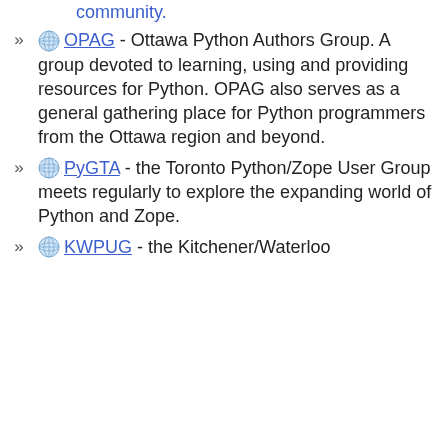OPAG - Ottawa Python Authors Group. A group devoted to learning, using and providing resources for Python. OPAG also serves as a general gathering place for Python programmers from the Ottawa region and beyond.
PyGTA - the Toronto Python/Zope User Group meets regularly to explore the expanding world of Python and Zope.
KWPUG - the Kitchener/Waterloo